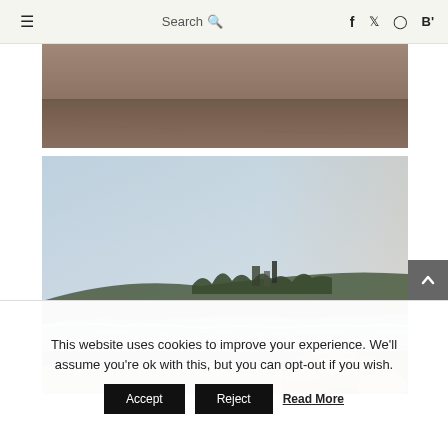≡  Search 🔍  f  t  Instagram  B'
[Figure (photo): Aerial or wide-angle photo of a flat sandy/desert landscape, dark brownish tones, minimal features]
[Figure (photo): Coastal beach scene with blue-hazy sky fading to warm peach on right, rocky shoreline with boulders, distant headland with buildings and trees, waves on water]
This website uses cookies to improve your experience. We'll assume you're ok with this, but you can opt-out if you wish.
Accept   Reject   Read More